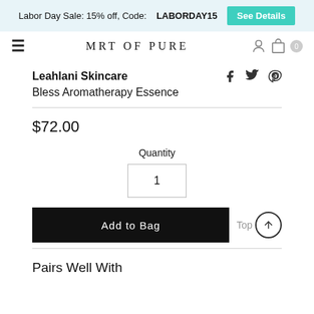Labor Day Sale: 15% off, Code: LABORDAY15   See Details
ART OF PURE
Leahlani Skincare
Bless Aromatherapy Essence
$72.00
Quantity
1
Add to Bag
Top
Pairs Well With